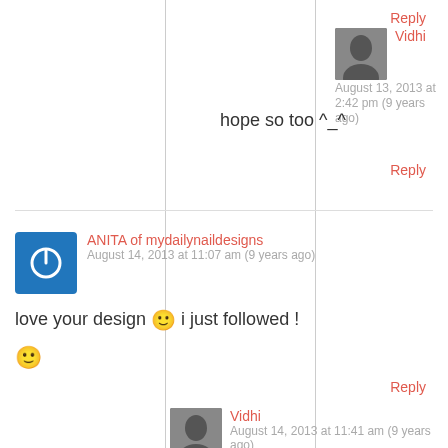Reply
Vidhi
August 13, 2013 at 2:42 pm (9 years ago)
hope so too ^_^
Reply
ANITA of mydailynaildesigns
August 14, 2013 at 11:07 am (9 years ago)
love your design 🙂 i just followed ! 🙂
Reply
Vidhi
August 14, 2013 at 11:41 am (9 years ago)